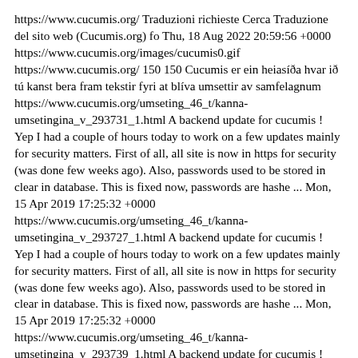https://www.cucumis.org/ Traduzioni richieste Cerca Traduzione del sito web (Cucumis.org) fo Thu, 18 Aug 2022 20:59:56 +0000 https://www.cucumis.org/images/cucumis0.gif https://www.cucumis.org/ 150 150 Cucumis er ein heiasíða hvar ið tú kanst bera fram tekstir fyri at blíva umsettir av samfelagnum https://www.cucumis.org/umseting_46_t/kanna-umsetingina_v_293731_1.html A backend update for cucumis ! Yep I had a couple of hours today to work on a few updates mainly for security matters. First of all, all site is now in https for security (was done few weeks ago). Also, passwords used to be stored in clear in database. This is fixed now, passwords are hashe ... Mon, 15 Apr 2019 17:25:32 +0000 https://www.cucumis.org/umseting_46_t/kanna-umsetingina_v_293727_1.html A backend update for cucumis ! Yep I had a couple of hours today to work on a few updates mainly for security matters. First of all, all site is now in https for security (was done few weeks ago). Also, passwords used to be stored in clear in database. This is fixed now, passwords are hashe ... Mon, 15 Apr 2019 17:25:32 +0000 https://www.cucumis.org/umseting_46_t/kanna-umsetingina_v_293739_1.html A backend update for cucumis ! Yep I had a couple of hours today to work on a few updates mainly for security matters. First of all, all site is now in https for security (was done few weeks ago). Also, passwords used to be stored in clear in database. This is fixed now, passwords are hashe ... Mon,